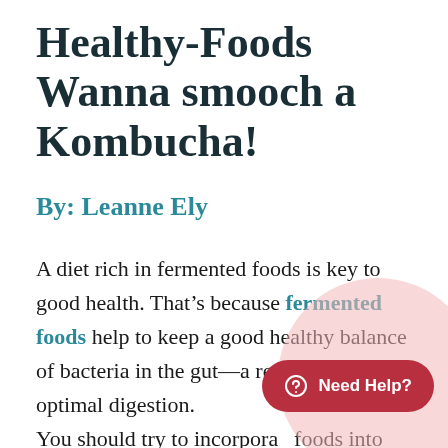Healthy-Foods Wanna smooch a Kombucha!
By: Leanne Ely
A diet rich in fermented foods is key to good health. That’s because fermented foods help to keep a good healthy balance of bacteria in the gut—a requirement for optimal digestion. You should try to incorporate foods into each of your daily meals, be it a